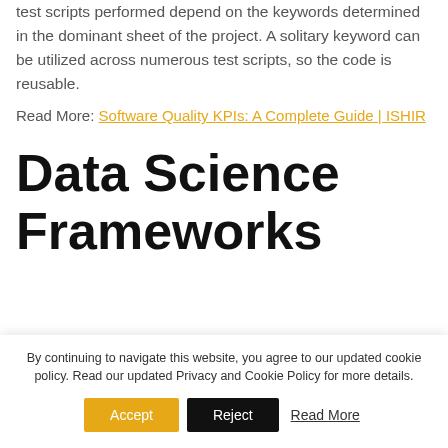little projects or applications. The robotization test scripts performed depend on the keywords determined in the dominant sheet of the project. A solitary keyword can be utilized across numerous test scripts, so the code is reusable.
Read More: Software Quality KPIs: A Complete Guide | ISHIR
Data Science Frameworks
By continuing to navigate this website, you agree to our updated cookie policy. Read our updated Privacy and Cookie Policy for more details.